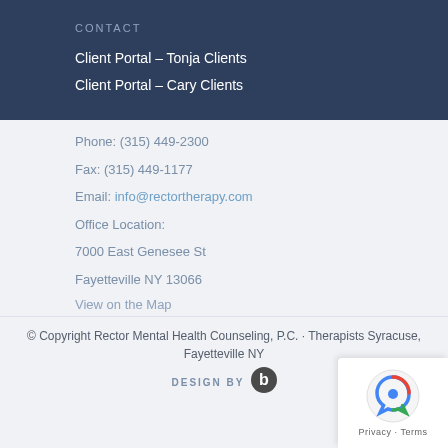CONTACT
Client Portal – Tonja Clients
Client Portal – Cary Clients
Phone: (315) 449-2300
Fax: (315) 449-1177
Email: info@rectortherapy.com
Office Location:
7000 East Genesee St
Fayetteville NY 13066
View on the Map
© Copyright Rector Mental Health Counseling, P.C. · Therapists Syracuse, Fayetteville NY
DESIGN BY [logo]
[Figure (logo): reCAPTCHA privacy badge with Google reCAPTCHA icon and Privacy · Terms text]